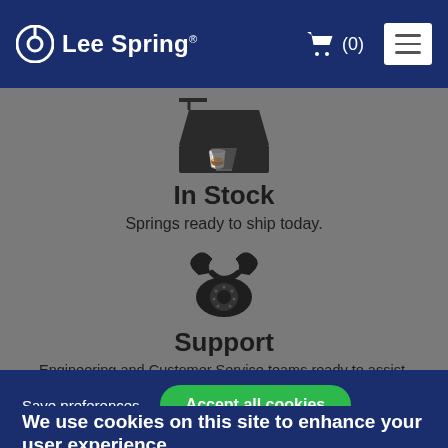Lee Spring® (0) [menu]
[Figure (illustration): Dark shipping box icon with fragile glass symbol]
In Stock
Springs ready to ship today.
[Figure (illustration): Black vintage telephone icon]
Support
Engineering and Customer Service teams ready to assist.
Save preferences
Accept all cookies
We use cookies on this site to enhance your user experience